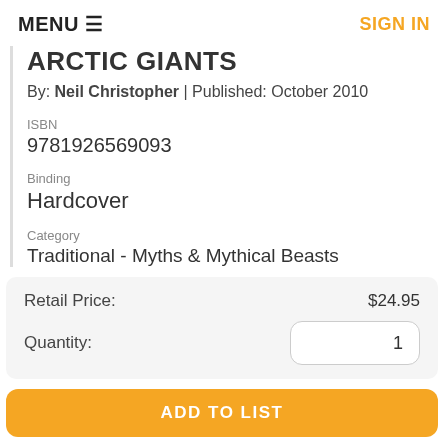MENU  SIGN IN
ARCTIC GIANTS
By: Neil Christopher | Published: October 2010
ISBN
9781926569093
Binding
Hardcover
Category
Traditional - Myths & Mythical Beasts
| Label | Value |
| --- | --- |
| Retail Price: | $24.95 |
| Quantity: | 1 |
ADD TO LIST